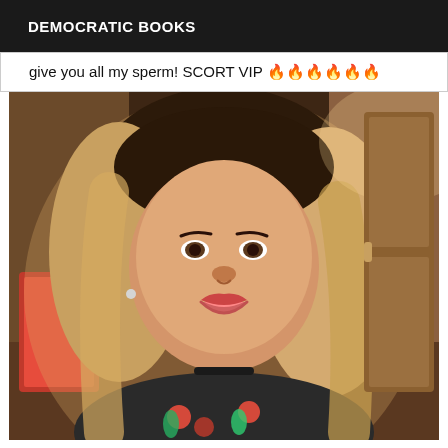DEMOCRATIC BOOKS
give you all my sperm! SCORT VIP 🔥🔥🔥🔥🔥🔥
[Figure (photo): Selfie photo of a woman with blonde highlighted hair, smiling, wearing a floral dress with red flowers, indoors]